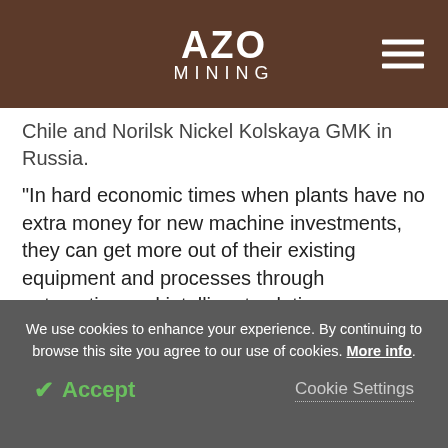AZO MINING
Chile and Norilsk Nickel Kolskaya GMK in Russia.
"In hard economic times when plants have no extra money for new machine investments, they can get more out of their existing equipment and processes through automation and intelligent solutions. Productivity and cost efficiency can be improved by optimizing process performance and minimizing lost time," says Kari Heikkilä, Director, Minerals Processing
We use cookies to enhance your experience. By continuing to browse this site you agree to our use of cookies. More info.
✔ Accept
Cookie Settings